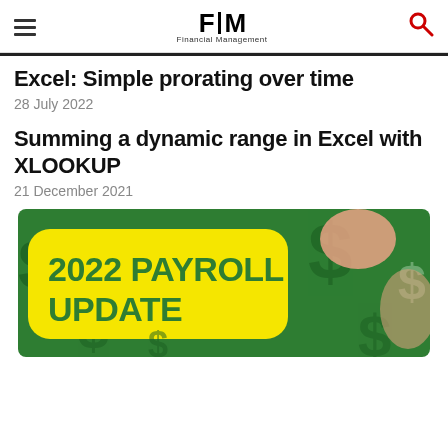FM Financial Management
Excel: Simple prorating over time
28 July 2022
Summing a dynamic range in Excel with XLOOKUP
21 December 2021
[Figure (illustration): 2022 PAYROLL UPDATE banner image with dollar signs on green background]